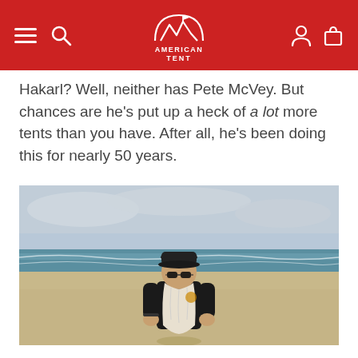American Tent — navigation header
Hakarl? Well, neither has Pete McVey. But chances are he's put up a heck of a lot more tents than you have. After all, he's been doing this for nearly 50 years.
[Figure (photo): Man with long white beard wearing black cap and black t-shirt standing on a sandy beach with ocean waves and cloudy sky in the background]